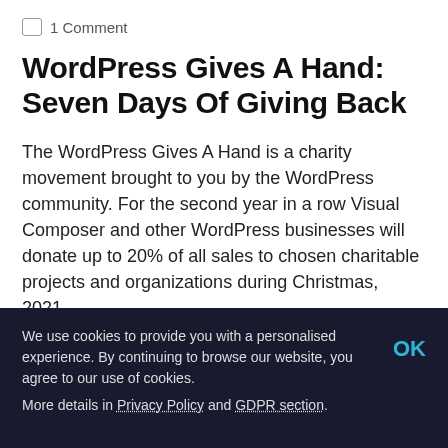1 Comment
WordPress Gives A Hand: Seven Days Of Giving Back
The WordPress Gives A Hand is a charity movement brought to you by the WordPress community. For the second year in a row Visual Composer and other WordPress businesses will donate up to 20% of all sales to chosen charitable projects and organizations during Christmas, 2021.
Read More
We use cookies to provide you with a personalised experience. By continuing to browse our website, you agree to our use of cookies.

More details in Privacy Policy and GDPR section.